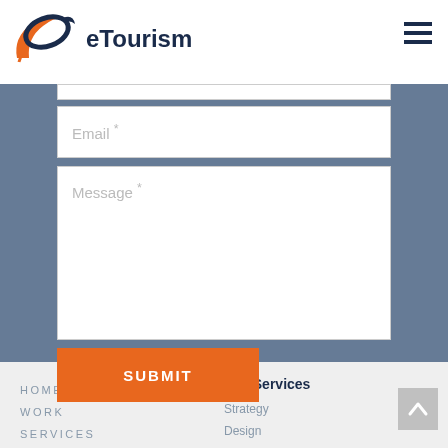[Figure (logo): eTourism logo with stylized orange and navy blue swoosh/ellipse icon followed by the text 'eTourism' in dark navy]
[Figure (other): Hamburger menu icon (three horizontal dark navy lines)]
Email *
Message *
SUBMIT
HOME
WORK
SERVICES
COMPANY
Our Services
Strategy
Design
Development